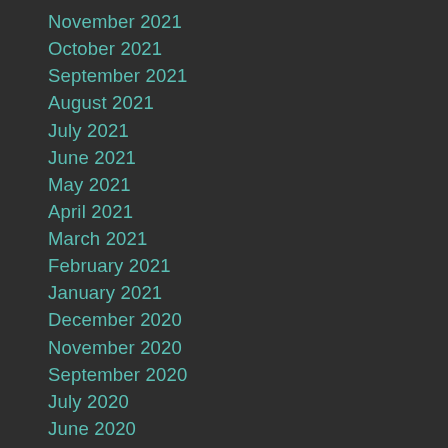November 2021
October 2021
September 2021
August 2021
July 2021
June 2021
May 2021
April 2021
March 2021
February 2021
January 2021
December 2020
November 2020
September 2020
July 2020
June 2020
May 2020
April 2020
March 2020
February 2020
December 2019